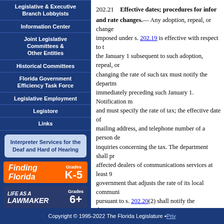Legislative & Executive Branch Lobbyists
Information Center
Joint Legislative Committees & Other Entities
Historical Committees
Florida Government Efficiency Task Force
Legislative Employment
Legistore
Links
Interpreter Services for the Deaf and Hard of Hearing
[Figure (infographic): Finding Florida Grades K-5 educational resource banner]
[Figure (infographic): Life as a Lawmaker Grades 6+ educational resource banner]
202.21 Effective dates; procedures for informing and rate changes.
Any adoption, repeal, or change to the rate of a tax imposed under s. 202.19 is effective with respect to the January 1 subsequent to such adoption, repeal, or changing the rate of such tax must notify the department immediately preceding such January 1. Notification must and must specify the rate of tax; the effective date of the mailing address, and telephone number of a person designated to respond to inquiries concerning the tax. The department shall provide notice to affected dealers of communications services at least 90 days before a local government that adjusts the rate of its local communications services tax pursuant to s. 202.20(2) shall notify the department of the adjustment. The department shall provide written notice of the adoption or change at least 30 days after receiving such notice. In any notice to providers of communications services under this chapter, the department shall express the rate for a municipality as the total rate levied within such jurisdiction pursuant to s. 202.19(c), the rate levied in an unincorporated county as the sum of the tax rates levied pursuant to s. any loss of or decrease in revenue by reason of any error in the notice shall not result in nonpayment of a tax imposed under s. 202.19.
History.—ss. 13, 58, ch. 2000-260; ss. 14, 38, ch. 2001-140.
Copyright © 1995-2022 The Florida Legislature • Priv